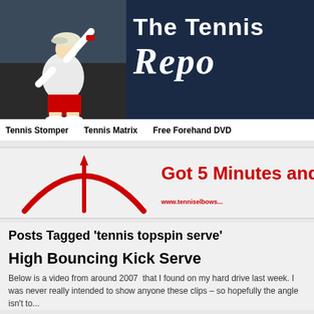[Figure (screenshot): The Tennis Report website banner with a tennis player in white shirt and red shorts swinging, dark navy background, white bold text 'The Tennis' and italic cursive 'Repor...']
Tennis Stomper   Tennis Matrix   Free Forehand DVD
[Figure (infographic): Advertisement banner with red arc/topspin curve diagram on white background and bold red text 'Got 5 Minutes and...' with URL www.tenniselbows...]
Posts Tagged ‘tennis topspin serve’
High Bouncing Kick Serve
Below is a video from around 2007  that I found on my hard drive last week. I was never really intended to show anyone these clips – so hopefully the angle isn’t to...